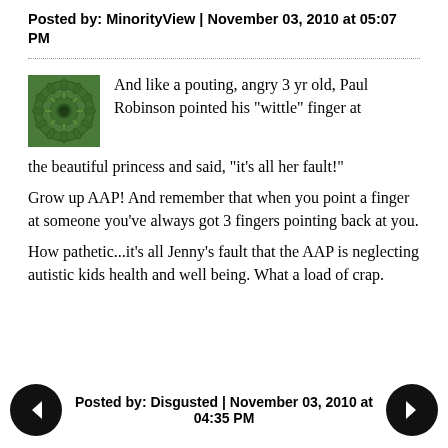Posted by: MinorityView | November 03, 2010 at 05:07 PM
And like a pouting, angry 3 yr old, Paul Robinson pointed his "wittle" finger at the beautiful princess and said, "it's all her fault!"
Grow up AAP! And remember that when you point a finger at someone you've always got 3 fingers pointing back at you.
How pathetic...it's all Jenny's fault that the AAP is neglecting autistic kids health and well being. What a load of crap.
Posted by: Disgusted | November 03, 2010 at 04:35 PM